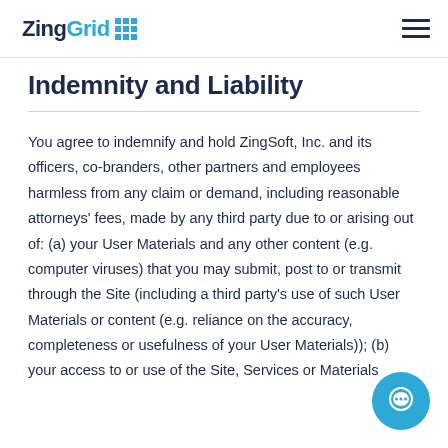ZingGrid [logo] [hamburger menu]
Indemnity and Liability
You agree to indemnify and hold ZingSoft, Inc. and its officers, co-branders, other partners and employees harmless from any claim or demand, including reasonable attorneys' fees, made by any third party due to or arising out of: (a) your User Materials and any other content (e.g. computer viruses) that you may submit, post to or transmit through the Site (including a third party's use of such User Materials or content (e.g. reliance on the accuracy, completeness or usefulness of your User Materials)); (b) your access to or use of the Site, Services or Materials